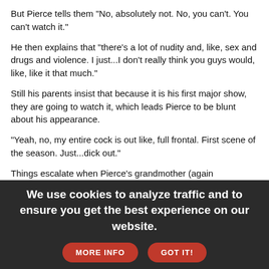But Pierce tells them "No, absolutely not. No, you can't. You can't watch it."
He then explains that "there's a lot of nudity and, like, sex and drugs and violence. I just...I don't really think you guys would, like, like it that much."
Still his parents insist that because it is his first major show, they are going to watch it, which leads Pierce to be blunt about his appearance.
"Yeah, no, my entire cock is out like, full frontal. First scene of the season. Just...dick out."
Things escalate when Pierce's grandmother (again masterfully played by Pierce with a shirt on his head) enters the skit. "We heard from your mother and it sounds like you're doing porn now?"
"No, no, grandma. I'm not doing porn now...it's an HBO show. It's on TV."
We use cookies to analyze traffic and to ensure you get the best experience on our website.  MORE INFO   GOT IT!